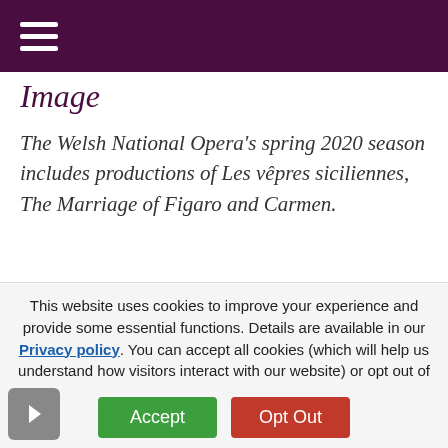Image
The Welsh National Opera's spring 2020 season includes productions of Les vêpres siciliennes, The Marriage of Figaro and Carmen.
This website uses cookies to improve your experience and provide some essential functions. Details are available in our Privacy policy. You can accept all cookies (which will help us understand how visitors interact with our website) or opt out of non–necessary cookies.